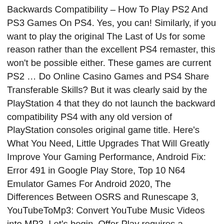Backwards Compatibility – How To Play PS2 And PS3 Games On PS4. Yes, you can! Similarly, if you want to play the original The Last of Us for some reason rather than the excellent PS4 remaster, this won't be possible either. These games are current PS2 … Do Online Casino Games and PS4 Share Transferable Skills? But it was clearly said by the PlayStation 4 that they do not launch the backward compatibility PS4 with any old version of PlayStation consoles original game title. Here's What You Need, Little Upgrades That Will Greatly Improve Your Gaming Performance, Android Fix: Error 491 in Google Play Store, Top 10 N64 Emulator Games For Android 2020, The Differences Between OSRS and Runescape 3, YouTubeToMp3: Convert YouTube Music Videos into MP3. Let's begin. Offer Play requires a PlayStation Plus membership and must be utilized for one hour on end. There have already been some excellent games on the PS4: Bloodborne, Horizon: Zero Dawn, and God of War, to name but a few. If Yes, then here we have a complete list of PS4 backwards compatibility games. Millions of PlayStation users were expecting that Sony will also launch ps4 backward compatibility PS3 old version